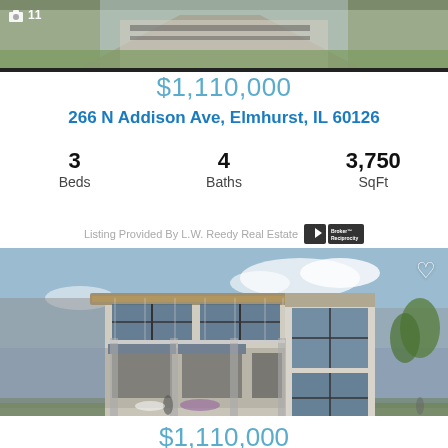[Figure (photo): Top portion of a modern house exterior rendering, partially cropped, showing roof and landscaping]
$1,110,000
266 N Addison Ave, Elmhurst, IL 60126
| Beds | Baths | SqFt |
| --- | --- | --- |
| 3 | 4 | 3,750 |
Listing Provided By L.W. Reedy Real Estate  Broker Reciprocity
[Figure (photo): Modern two-story house exterior rendering with large windows, wood accents, concrete columns, and landscaping. Camera icon with number 11 in bottom left, heart icon in top right.]
$1,110,000